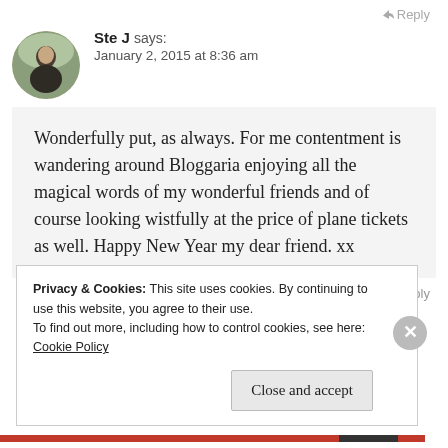Reply
Ste J says:
January 2, 2015 at 8:36 am
Wonderfully put, as always. For me contentment is wandering around Bloggaria enjoying all the magical words of my wonderful friends and of course looking wistfully at the price of plane tickets as well. Happy New Year my dear friend. xx
Reply
Privacy & Cookies: This site uses cookies. By continuing to use this website, you agree to their use.
To find out more, including how to control cookies, see here: Cookie Policy
Close and accept